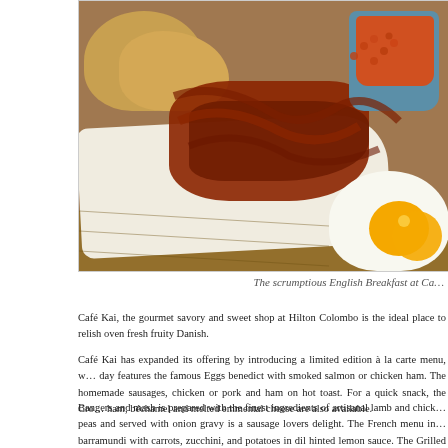[Figure (photo): A plate with crispy bacon rashers, toasted bread/rolls, a blue ceramic cup filled with baked beans in tomato sauce, and a fried egg, arranged on a white plate on a wooden surface — an English breakfast.]
The scrumptious English Breakfast at Ca…
Café Kai, the gourmet savory and sweet shop at Hilton Colombo is the ideal place to relish oven fresh fruity Danish.
Café Kai has expanded its offering by introducing a limited edition à la carte menu, w… day features the famous Eggs benedict with smoked salmon or chicken ham. The homemade sausages, chicken or pork and ham on hot toast. For a quick snack, the Cro… ham, béchamel and melted emmental cheese are also available.
Bangers and mash is prepared with the finest ingredients of artisanal lamb and chick… peas and served with onion gravy is a sausage lovers delight. The French menu in… barramundi with carrots, zucchini, and potatoes in dil hinted lemon sauce. The Grilled the new à la carte menu.